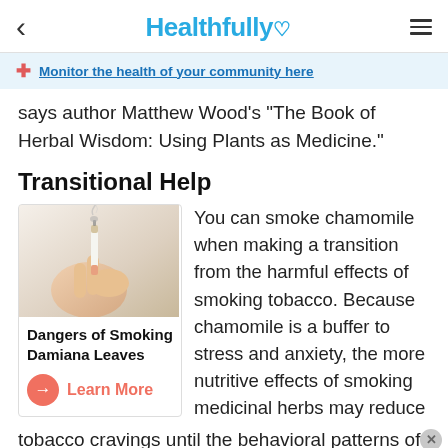Healthfully
Monitor the health of your community here
says author Matthew Wood's "The Book of Herbal Wisdom: Using Plants as Medicine."
Transitional Help
[Figure (photo): Hand holding a lit cigarette against a light background]
Dangers of Smoking Damiana Leaves
Learn More
You can smoke chamomile when making a transition from the harmful effects of smoking tobacco. Because chamomile is a buffer to stress and anxiety, the more nutritive effects of smoking medicinal herbs may reduce tobacco cravings until the behavioral patterns of